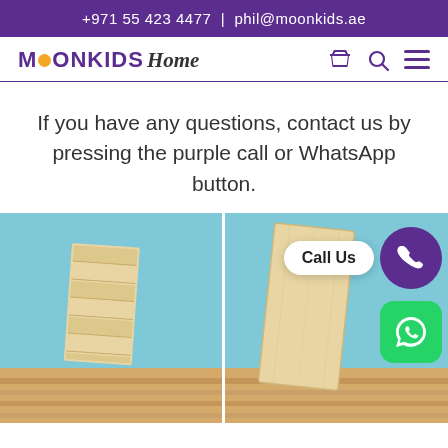+971 55 423 4477  |  phil@moonkids.ae
[Figure (logo): MoonKids Home logo with orange circle dot, purple text, and dark italic 'HOME' text, with shopping cart, search, and menu icons on the right]
If you have any questions, contact us by pressing the purple call or WhatsApp button.
[Figure (photo): Two photos side by side of wooden slat boards leaning against a light blue wall on a wooden floor. Right panel shows a 'Call Us' button and purple phone circle button and green WhatsApp button overlaid.]